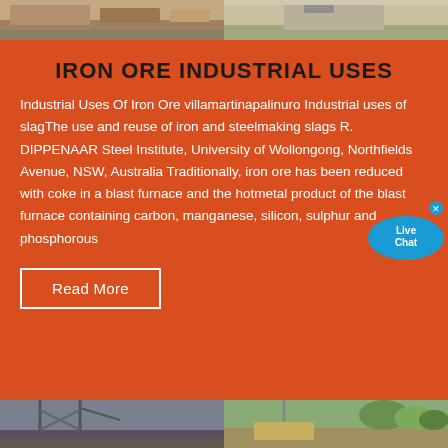[Figure (photo): Two construction site photos at top — left shows industrial equipment/machinery on ground with dirt, right shows truck or vehicle on paved area]
IRON ORE INDUSTRIAL USES
Industrial Uses Of Iron Ore villamartinapalinuro Industrial uses of slagThe use and reuse of iron and steelmaking slags R. DIPPENAAR Steel Institute, University of Wollongong, Northfields Avenue, NSW, Australia Traditionally, iron ore has been reduced with coke in a blast furnace and the hotmetal product of the blast furnace containing carbon, manganese, silicon, sulphur and phosphorous
Read More
[Figure (photo): Two construction/mining site photos at bottom — left shows metal scaffolding/crane structure, right shows industrial machinery with green trees in background]